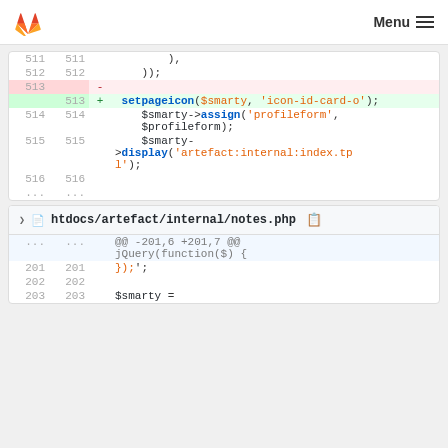GitLab — Menu
[Figure (screenshot): Code diff view showing PHP file changes. First diff block shows lines 511-516 with a deletion of '-' on line 513 and addition of '+ setpageicon($smarty, "icon-id-card-o");' on line 513, plus $smarty->assign and $smarty->display calls. Second diff block shows htdocs/artefact/internal/notes.php with hunk starting at -201,6 +201,7, showing lines 201-203 with jQuery and $smarty code.]